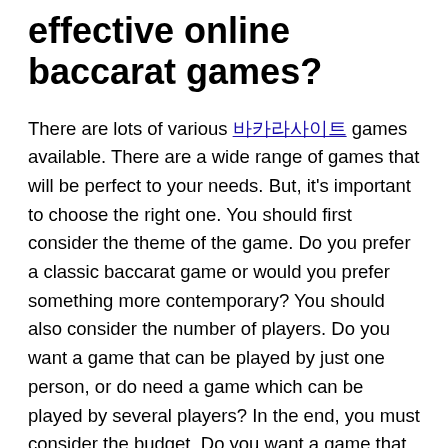effective online baccarat games?
There are lots of various 바카라사이트 games available. There are a wide range of games that will be perfect to your needs. But, it's important to choose the right one. You should first consider the theme of the game. Do you prefer a classic baccarat game or would you prefer something more contemporary? You should also consider the number of players. Do you want a game that can be played by just one person, or do need a game which can be played by several players? In the end, you must consider the budget. Do you want a game that is affordable or do you prefer one that is more expensive? Once you have chosen the game you want to play, you'll be ready to begin playing.
What are the features of the